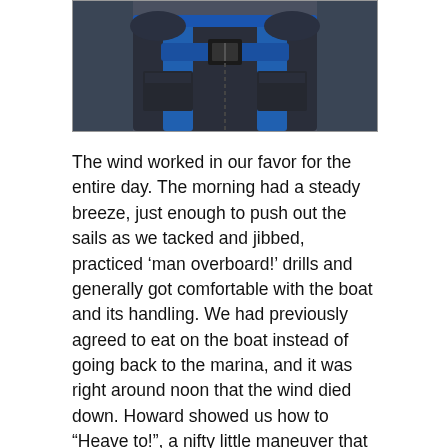[Figure (photo): Close-up of a person wearing a blue and grey life jacket/sailing vest with a buckle clasp visible at the chest area]
The wind worked in our favor for the entire day. The morning had a steady breeze, just enough to push out the sails as we tacked and jibbed, practiced ‘man overboard!’ drills and generally got comfortable with the boat and its handling. We had previously agreed to eat on the boat instead of going back to the marina, and it was right around noon that the wind died down. Howard showed us how to “Heave to!”, a nifty little maneuver that keeps the boat fairly well stationary, while we ate our lunches and reviewed some of the book information. And then, just as we were finishing up and debating